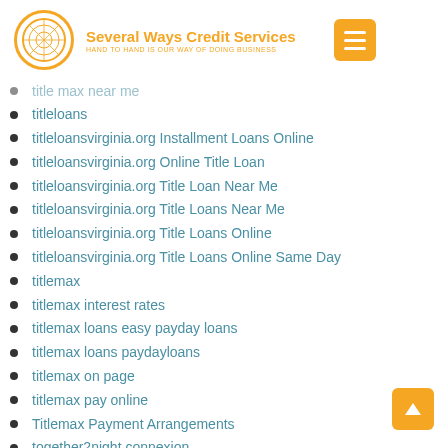Several Ways Credit Services — HAND TO HAND IS OUR WAY OF DOING BUSINESS
title max near me
titleloans
titleloansvirginia.org Installment Loans Online
titleloansvirginia.org Online Title Loan
titleloansvirginia.org Title Loan Near Me
titleloansvirginia.org Title Loans Near Me
titleloansvirginia.org Title Loans Online
titleloansvirginia.org Title Loans Online Same Day
titlemax
titlemax interest rates
titlemax loans easy payday loans
titlemax loans paydayloans
titlemax on page
titlemax pay online
Titlemax Payment Arrangements
together2night connexion
Together2Night preise
tokenexus_500 rus
Top 10 Best Dating Site In Usa
Top 10 Best Free Dating Site In The World